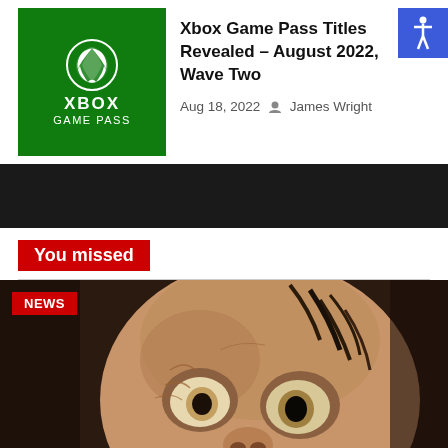[Figure (logo): Xbox Game Pass green logo with Xbox circle icon, XBOX text, and GAME PASS subtext on green background]
Xbox Game Pass Titles Revealed – August 2022, Wave Two
Aug 18, 2022 James Wright
[Figure (illustration): Blue accessibility icon button in top right corner]
You missed
[Figure (photo): Close-up photo of Gollum character face with large eyes, wrinkled skin and dark hair. NEWS badge in top left. Translate button at bottom left.]